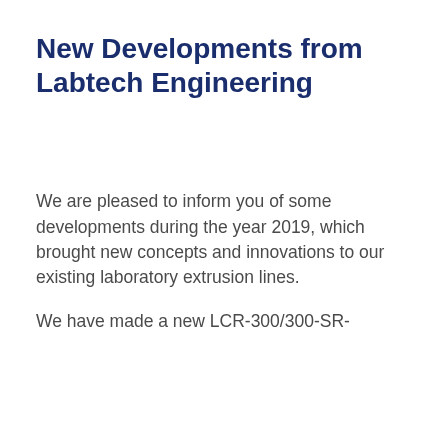New Developments from Labtech Engineering
We are pleased to inform you of some developments during the year 2019, which brought new concepts and innovations to our existing laboratory extrusion lines.
We have made a new LCR-300/300-SR-